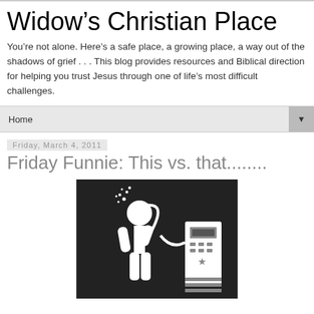Widow’s Christian Place
You’re not alone. Here’s a safe place, a growing place, a way out of the shadows of grief . . . This blog provides resources and Biblical direction for helping you trust Jesus through one of life’s most difficult challenges.
Home
Friday, March 4, 2011
Friday Funnie: This vs. that........
[Figure (illustration): Black and white icon illustration of a person holding a fuel pump nozzle to their head, as if filling their brain with fuel, with a gas pump station visible to the right.]